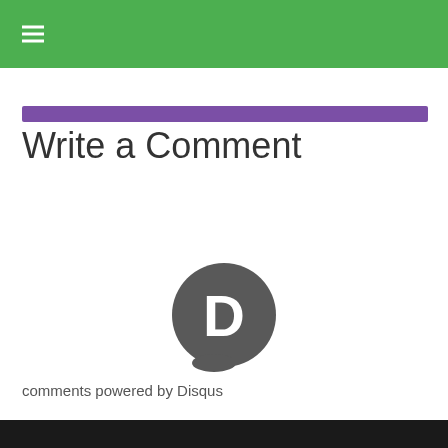Write a Comment
[Figure (logo): Disqus logo: dark gray speech bubble with a white letter D inside]
comments powered by Disqus